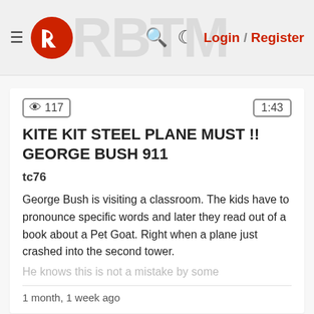≡ [Rumble logo] 🔍 ☾ Login / Register
KITE KIT STEEL PLANE MUST !! GEORGE BUSH 911
tc76
George Bush is visiting a classroom. The kids have to pronounce specific words and later they read out of a book about a Pet Goat. Right when a plane just crashed into the second tower.
He knows this is not a mistake by some
1 month, 1 week ago